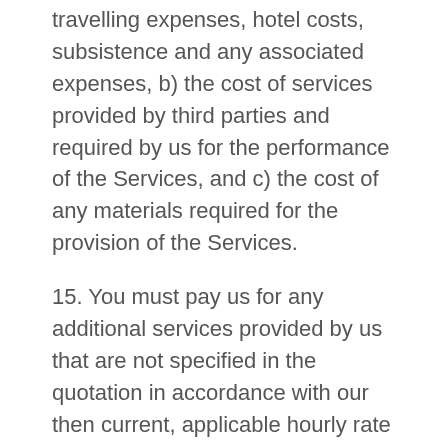travelling expenses, hotel costs, subsistence and any associated expenses, b) the cost of services provided by third parties and required by us for the performance of the Services, and c) the cost of any materials required for the provision of the Services.
15. You must pay us for any additional services provided by us that are not specified in the quotation in accordance with our then current, applicable hourly rate in effect at the time of performance or such other rate as may be agreed